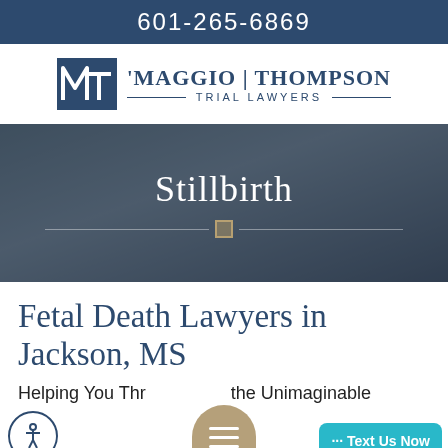601-265-6869
[Figure (logo): MT Maggio Thompson Trial Lawyers logo with stylized MT monogram in navy blue]
[Figure (photo): Baby lying on back, photo used as hero banner background with dark overlay and the word 'Stillbirth' centered in white serif text]
Fetal Death Lawyers in Jackson, MS
Helping You Through the Unimaginable